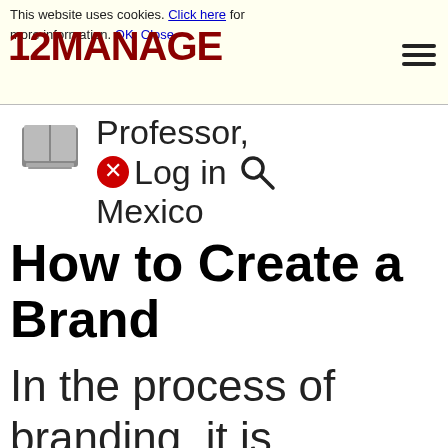This website uses cookies. Click here for more information. OK, Close
[Figure (logo): 12MANAGE logo in dark red/maroon bold text]
Professor, Log in Mexico
How to Create a Brand
In the process of branding, it is necessary to